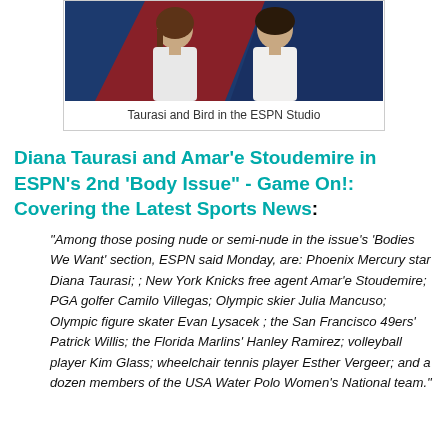[Figure (photo): Two women in white polo shirts sitting in ESPN studio with blue and red background, identified as Taurasi and Bird]
Taurasi and Bird in the ESPN Studio
Diana Taurasi and Amar'e Stoudemire in ESPN's 2nd 'Body Issue" - Game On!: Covering the Latest Sports News:
"Among those posing nude or semi-nude in the issue's 'Bodies We Want' section, ESPN said Monday, are: Phoenix Mercury star Diana Taurasi; ; New York Knicks free agent Amar'e Stoudemire; PGA golfer Camilo Villegas; Olympic skier Julia Mancuso; Olympic figure skater Evan Lysacek ; the San Francisco 49ers' Patrick Willis; the Florida Marlins' Hanley Ramirez; volleyball player Kim Glass; wheelchair tennis player Esther Vergeer; and a dozen members of the USA Water Polo Women's National team."